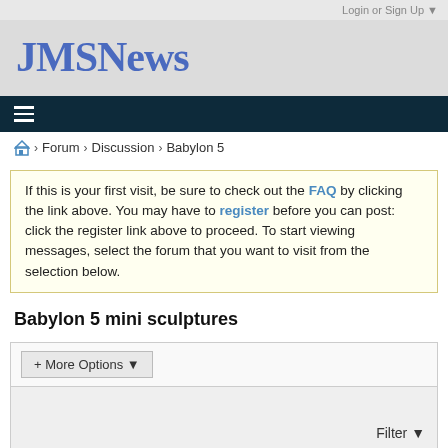Login or Sign Up ▼
JMSNews
≡
🏠 > Forum > Discussion > Babylon 5
If this is your first visit, be sure to check out the FAQ by clicking the link above. You may have to register before you can post: click the register link above to proceed. To start viewing messages, select the forum that you want to visit from the selection below.
Babylon 5 mini sculptures
+ More Options ▼
Filter ▼